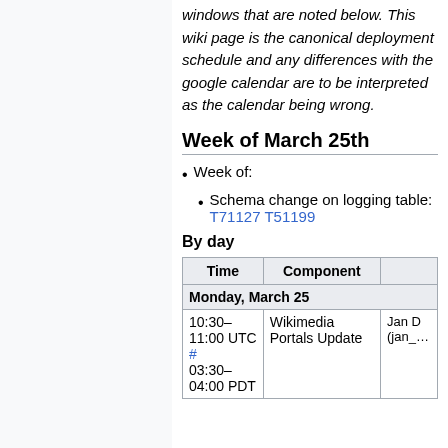windows that are noted below. This wiki page is the canonical deployment schedule and any differences with the google calendar are to be interpreted as the calendar being wrong.
Week of March 25th
Week of:
Schema change on logging table: T71127 T51199
By day
| Time | Component |  |
| --- | --- | --- |
| Monday, March 25 |  |  |
| 10:30–11:00 UTC # 03:30–04:00 PDT | Wikimedia Portals Update | Jan D (jan_… |